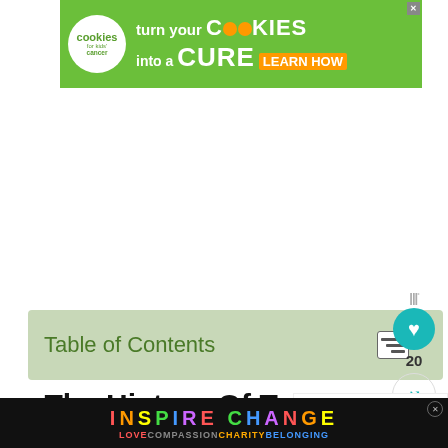[Figure (illustration): Green advertisement banner for 'Cookies for Kids Cancer' with text 'turn your COOKIES into a CURE LEARN HOW' and an X close button]
Table of Contents
[Figure (infographic): Social interaction panel with heart icon button showing count 20 and a share button with Mediavine logo]
The History Of Testaccio Market
[Figure (infographic): What's Next panel with thumbnail image and caption 'A Short Guide To Easter In...']
[Figure (illustration): Inspire Change banner with rainbow colored text 'INSPIRE CHANGE' and 'LOVE COMPASSION CHARITY BELONGING' with an X close button]